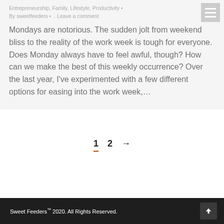Entrepreneurship, Family, Lifestyle, Productivity •
By sweetfeeders • . Leave a comment
Mondays are notorious. The sudden jolt from weekend bliss to the reality of the work week is tough for everyone. Does Monday always have to feel awful, though? How can we make the best of this weekly occurrence? Over the last year, I've experimented with a few different options for easing into the work week,…
Sweet Feeders™ 2020. All Rights Reserved.